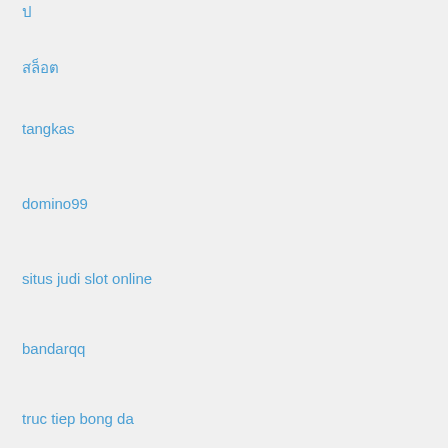ป
สล็อต
tangkas
domino99
situs judi slot online
bandarqq
truc tiep bong da